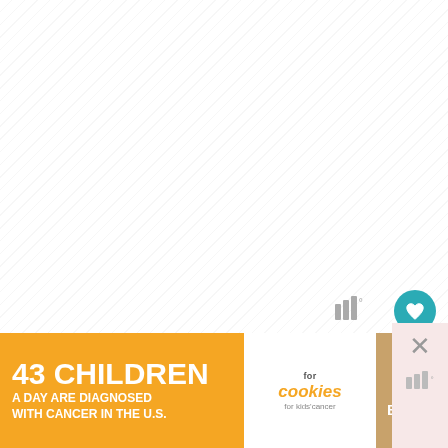[Figure (screenshot): Mostly white/blank content area with diagonal hatching texture, representing a web page loading state or blank recipe photo area]
[Figure (infographic): Teal circular heart/favorite button icon on the right side]
1.9K
[Figure (infographic): Share button (circular with share icon) on the right side]
[Figure (logo): Wordmark with three vertical bars of increasing height and a degree symbol]
[Figure (infographic): Advertisement banner: '43 CHILDREN A Day Are Diagnosed With Cancer in the U.S.' with cookies for kids cancer logo and 'Let's Get Baking' text]